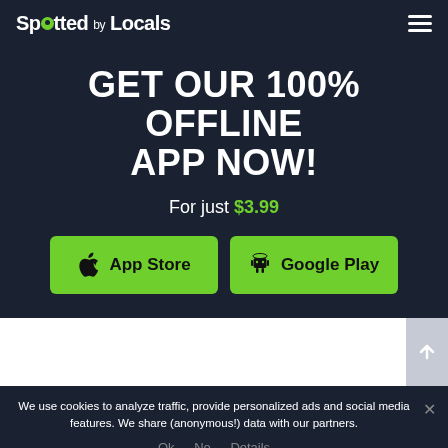Spotted by Locals
GET OUR 100% OFFLINE APP NOW!
For just $3.99
App Store  Google Play
[Figure (screenshot): White section with scroll-to-top button on the right]
We use cookies to analyze traffic, provide personalized ads and social media features. We share (anonymous!) data with our partners.
Ok  No  Details
© 2022 SPOTTEDBYLOCALS.COM